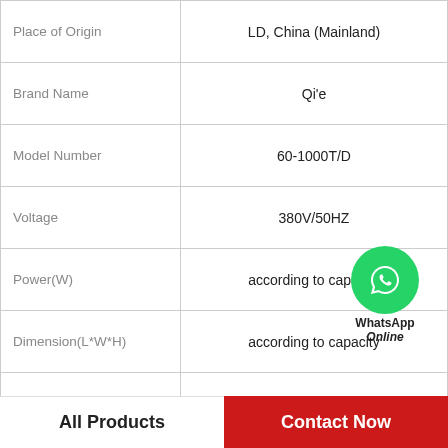| Attribute | Value |
| --- | --- |
| Place of Origin | LD, China (Mainland) |
| Brand Name | Qi'e |
| Model Number | 60-1000T/D |
| Voltage | 380V/50HZ |
| Power(W) | according to capacity |
| Dimension(L*W*H) | according to capacity |
| Weight | according to capacity |
| Certification | ISO, CE, BV, ISO9001 |
[Figure (logo): WhatsApp Online contact button with green phone icon and text 'WhatsApp Online']
All Products
Contact Now